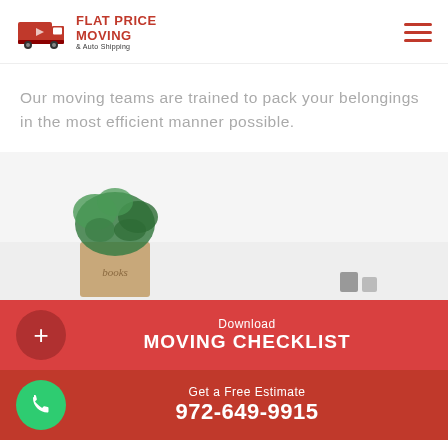[Figure (logo): Flat Price Moving & Auto Shipping logo with red truck icon and red text]
Our moving teams are trained to pack your belongings in the most efficient manner possible.
[Figure (photo): Interior photo showing a potted green plant and a box labeled 'books' against a light wall]
Download
MOVING CHECKLIST
Get a Free Estimate
972-649-9915